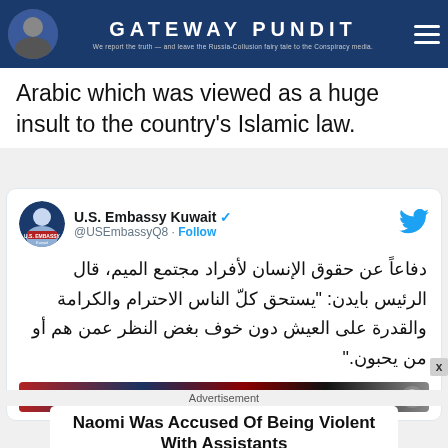GATEWAY PUNDIT — We report the truth — and leave the Russia-Collusion fairy tale to the Conspiracy media.
Arabic which was viewed as a huge insult to the country's Islamic law.
[Figure (screenshot): Tweet from U.S. Embassy Kuwait (@USEmbassyQ8) with Follow button and Twitter bird icon, containing Arabic text defending human rights of LGBTQ+ individuals quoting President Biden.]
دفاعاً عن حقوق الإنسان لأفراد مجتمع الميم، قال الرئيس بايدن: "يستحق كلّ الناس الاحترام والكرامة والقدرة على العيش دون خوف بغض النظر عمن هم أو من يحبون."
[Figure (photo): Partial image strip showing flags or banners, partially visible at bottom of tweet card.]
Advertisement
Naomi Was Accused Of Being Violent With Assistants
Herbeauty